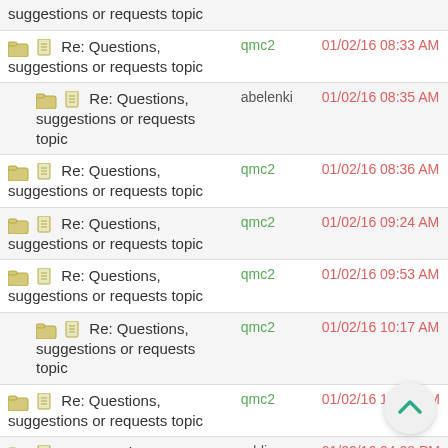suggestions or requests topic
Re: Questions, suggestions or requests topic | qmc2 | 01/02/16 08:33 AM
Re: Questions, suggestions or requests topic | abelenki | 01/02/16 08:35 AM
Re: Questions, suggestions or requests topic | qmc2 | 01/02/16 08:36 AM
Re: Questions, suggestions or requests topic | qmc2 | 01/02/16 09:24 AM
Re: Questions, suggestions or requests topic | qmc2 | 01/02/16 09:53 AM
Re: Questions, suggestions or requests topic | qmc2 | 01/02/16 10:17 AM
Re: Questions, suggestions or requests topic | qmc2 | 01/02/16 12:20 PM
Re: Questions, suggestions or requests topic | oddi | 01/02/16 04:08 PM
Re: Questions, suggestions or requests topic | qmc2 | 01/02/16 04:27 PM